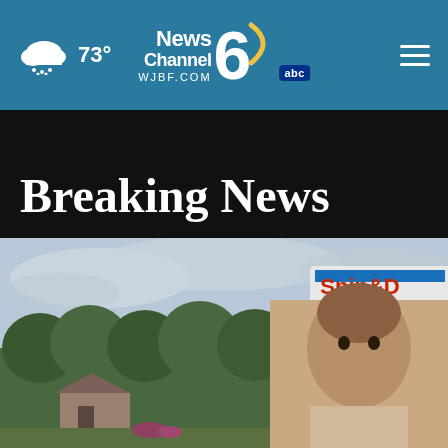73° — News Channel 6 WJBF.COM abc
Breaking News
[Figure (photo): Outdoor scene with trees, a small building, cloudy sky, a blue sign pole with a partial sign visible, and a mugshot-style portrait inset in the lower right corner]